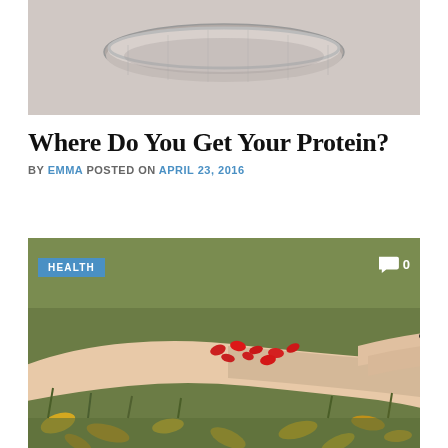[Figure (photo): Top portion of a bowl or container, cropped, light gray/beige background]
Where Do You Get Your Protein?
BY EMMA POSTED ON APRIL 23, 2016
[Figure (photo): A hand with black nail polish holding red berries or pills, lying on green grass with fallen yellow leaves. A HEALTH badge overlay and comment count of 0 are shown.]